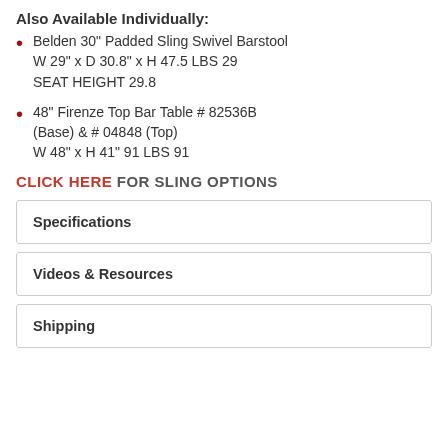Also Available Individually:
Belden 30" Padded Sling Swivel Barstool
W 29" x D 30.8" x H 47.5 LBS 29
SEAT HEIGHT 29.8
48" Firenze Top Bar Table # 82536B (Base) & # 04848 (Top)
W 48" x H 41" 91 LBS 91
CLICK HERE FOR SLING OPTIONS
Specifications
Videos & Resources
Shipping